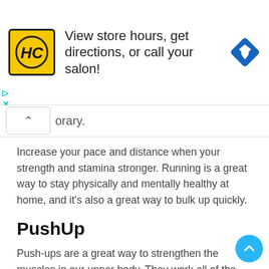[Figure (infographic): Advertisement banner for HC (Hair Club or similar salon brand). Yellow square logo with HC letters on left, text 'View store hours, get directions, or call your salon!' in center, blue diamond navigation arrow icon on right.]
orary.
Increase your pace and distance when your strength and stamina stronger. Running is a great way to stay physically and mentally healthy at home, and it's also a great way to bulk up quickly.
PushUp
Push-ups are a great way to strengthen the muscles in our upper body. They work all of the upper body muscles, including the arms, back, shoulders, and chests. When you've gained enough experience, you can improve your push-ups by leaning against a wall, the kitchen door, or anywhere else to do the push-up at an angle.